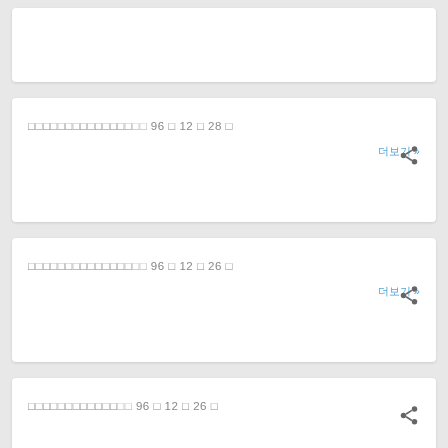더보기 »
□□□□□□□□□□□□□□ 96 □ 12 □ 28 □
더보기 »
□□□□□□□□□□□□□□ 96 □ 12 □ 26 □
더보기 »
□□□□□□□□□□□□ 96 □ 12 □ 26 □